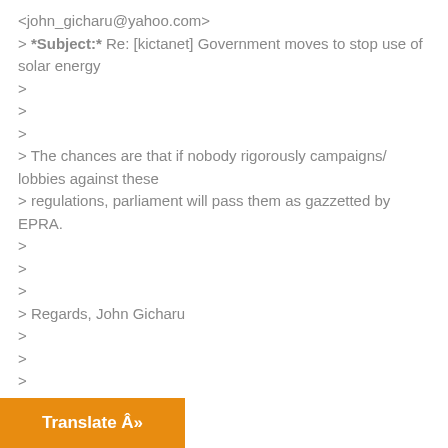<john_gicharu@yahoo.com>
> *Subject:* Re: [kictanet] Government moves to stop use of solar energy
>
>
>
> The chances are that if nobody rigorously campaigns/ lobbies against these
> regulations, parliament will pass them as gazzetted by EPRA.
>
>
>
> Regards, John Gicharu
>
>
>
Translate Â»